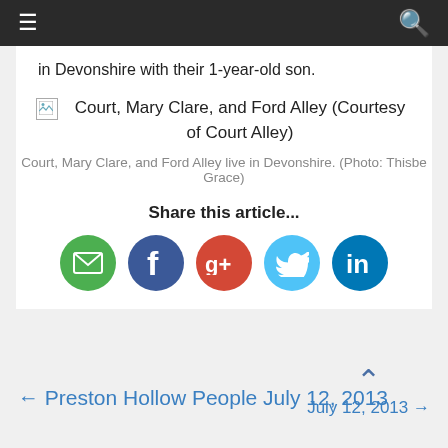≡  🔍
in Devonshire with their 1-year-old son.
[Figure (photo): Broken image placeholder with alt text: Court, Mary Clare, and Ford Alley (Courtesy of Court Alley)]
Court, Mary Clare, and Ford Alley live in Devonshire. (Photo: Thisbe Grace)
Share this article...
[Figure (infographic): Social share icons: Email (green), Facebook (dark blue), Google+ (red), Twitter (light blue), LinkedIn (blue)]
← Preston Hollow People July 12, 2013
July 12, 2013 →